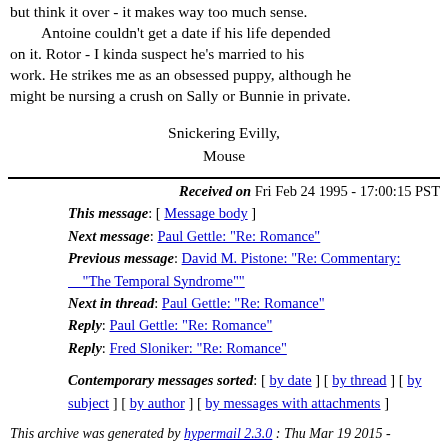but think it over - it makes way too much sense. Antoine couldn't get a date if his life depended on it. Rotor - I kinda suspect he's married to his work. He strikes me as an obsessed puppy, although he might be nursing a crush on Sally or Bunnie in private.
Snickering Evilly,
Mouse
Received on Fri Feb 24 1995 - 17:00:15 PST
This message: [ Message body ]
Next message: Paul Gettle: "Re: Romance"
Previous message: David M. Pistone: "Re: Commentary: "The Temporal Syndrome""
Next in thread: Paul Gettle: "Re: Romance"
Reply: Paul Gettle: "Re: Romance"
Reply: Fred Sloniker: "Re: Romance"
Contemporary messages sorted: [ by date ] [ by thread ] [ by subject ] [ by author ] [ by messages with attachments ]
This archive was generated by hypermail 2.3.0 : Thu Mar 19 2015 - 12:17:02 PDT